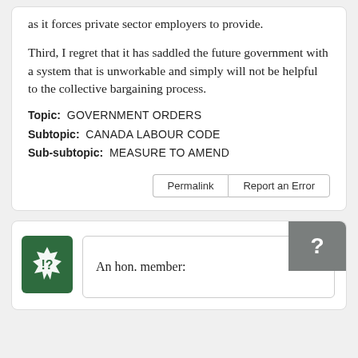as it forces private sector employers to provide.

Third, I regret that it has saddled the future government with a system that is unworkable and simply will not be helpful to the collective bargaining process.
Topic:  GOVERNMENT ORDERS
Subtopic:  CANADA LABOUR CODE
Sub-subtopic:  MEASURE TO AMEND
Permalink  Report an Error
An hon. member: